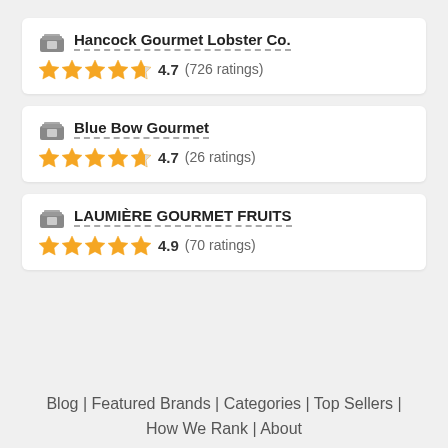Hancock Gourmet Lobster Co. — 4.7 (726 ratings)
Blue Bow Gourmet — 4.7 (26 ratings)
LAUMIÈRE GOURMET FRUITS — 4.9 (70 ratings)
Blog | Featured Brands | Categories | Top Sellers | How We Rank | About